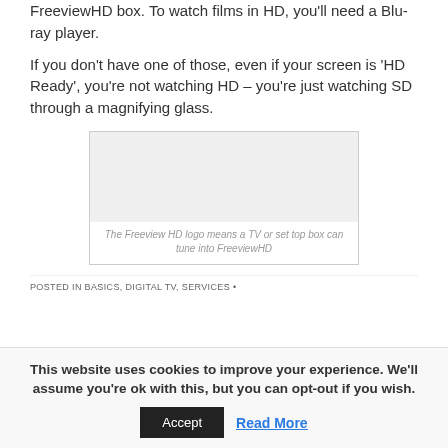FreeviewHD box. To watch films in HD, you'll need a Blu-ray player.
If you don't have one of those, even if your screen is 'HD Ready', you're not watching HD – you're just watching SD through a magnifying glass.
[Figure (photo): Freeview HD logo placeholder image area]
The Freeview HD logo means a TV or set top box can tune into FreeviewHD
POSTED IN BASICS, DIGITAL TV, SERVICES •
This website uses cookies to improve your experience. We'll assume you're ok with this, but you can opt-out if you wish.